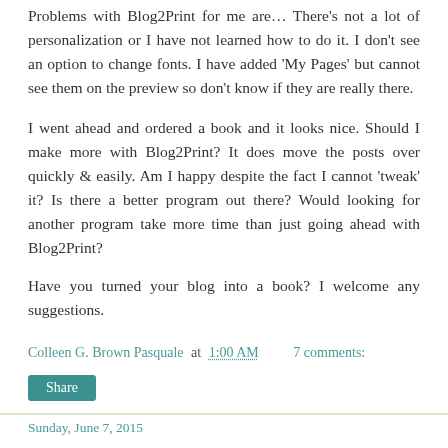Problems with Blog2Print for me are… There's not a lot of personalization or I have not learned how to do it. I don't see an option to change fonts. I have added 'My Pages' but cannot see them on the preview so don't know if they are really there.
I went ahead and ordered a book and it looks nice. Should I make more with Blog2Print? It does move the posts over quickly & easily. Am I happy despite the fact I cannot 'tweak' it? Is there a better program out there? Would looking for another program take more time than just going ahead with Blog2Print?
Have you turned your blog into a book? I welcome any suggestions.
Colleen G. Brown Pasquale at 1:00 AM    7 comments:
Share
Sunday, June 7, 2015